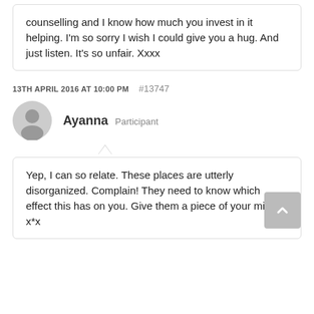counselling and I know how much you invest in it helping. I'm so sorry I wish I could give you a hug. And just listen. It's so unfair. Xxxx
13TH APRIL 2016 AT 10:00 PM  #13747
Ayanna  Participant
Yep, I can so relate. These places are utterly disorganized. Complain! They need to know which effect this has on you. Give them a piece of your mind. x*x